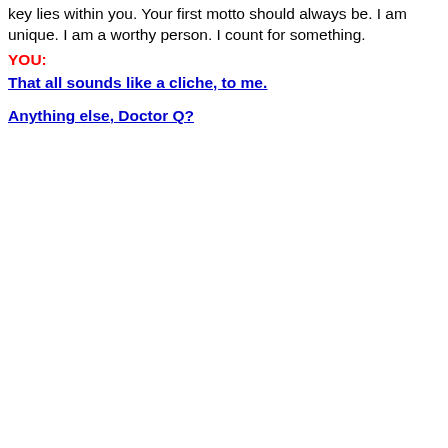key lies within you. Your first motto should always be. I am unique. I am a worthy person. I count for something.
YOU:
That all sounds like a cliche, to me.
Anything else, Doctor Q?